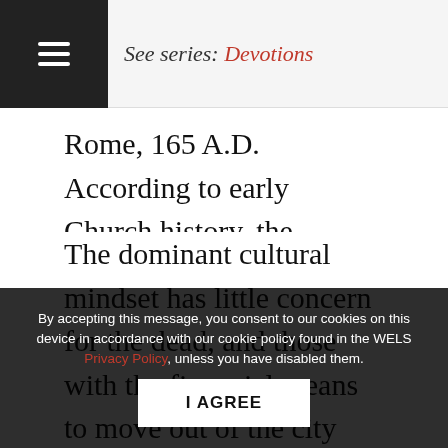See series: Devotions
Rome, 165 A.D. According to early Church history, the Christians living there at that time do not have an easy life. Persecution seems to be on the rise. Then conditions grow worse. A plague arrives. As many as two thousand people in Rome die every day. The dominant cultural mindset has little concern for the dead, and those with the financial means to move out of the city does so.
By accepting this message, you consent to our cookies on this device in accordance with our cookie policy found in the WELS Privacy Policy, unless you have disabled them.
The Christians however...